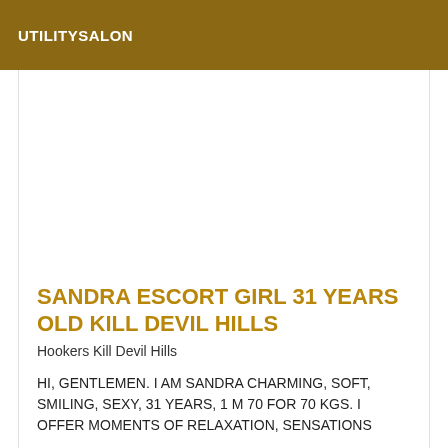UTILITYSALON
SANDRA ESCORT GIRL 31 YEARS OLD KILL DEVIL HILLS
Hookers Kill Devil Hills
HI, GENTLEMEN. I AM SANDRA CHARMING, SOFT, SMILING, SEXY, 31 YEARS, 1 M 70 FOR 70 KGS. I OFFER MOMENTS OF RELAXATION, SENSATIONS